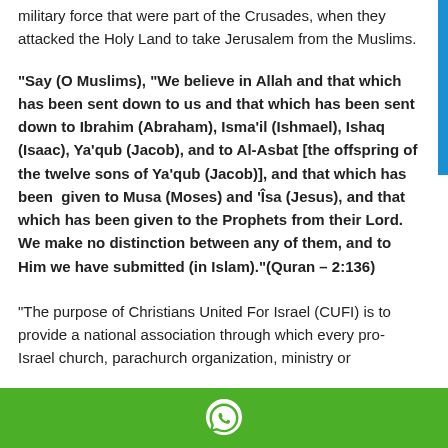This the Seal of the Knights Templar. They were the military force that were part of the Crusades, when they attacked the Holy Land to take Jerusalem from the Muslims.
“Say (O Muslims), "We believe in Allah and that which has been sent down to us and that which has been sent down to Ibrahim (Abraham), Isma’il (Ishmael), Ishaq (Isaac), Ya’qub (Jacob), and to Al-Asbat [the offspring of the twelve sons of Ya’qub (Jacob)], and that which has been given to Musa (Moses) and ‘Îsa (Jesus), and that which has been given to the Prophets from their Lord. We make no distinction between any of them, and to Him we have submitted (in Islam)."(Quran – 2:136)
“The purpose of Christians United For Israel (CUFI) is to provide a national association through which every pro-Israel church, parachurch organization, ministry or...
[Figure (logo): WhatsApp icon in white on green bar at the bottom of the page]